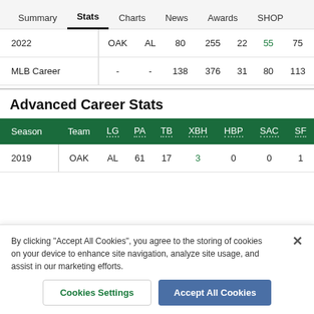Summary | Stats | Charts | News | Awards | SHOP
|  |  |  |  |  |  |  |  |
| --- | --- | --- | --- | --- | --- | --- | --- |
| 2022 | OAK | AL | 80 | 255 | 22 | 55 | 75 |
| MLB Career | - | - | 138 | 376 | 31 | 80 | 113 |
Advanced Career Stats
| Season | Team | LG | PA | TB | XBH | HBP | SAC | SF |
| --- | --- | --- | --- | --- | --- | --- | --- | --- |
| 2019 | OAK | AL | 61 | 17 | 3 | 0 | 0 | 1 |
By clicking "Accept All Cookies", you agree to the storing of cookies on your device to enhance site navigation, analyze site usage, and assist in our marketing efforts.
Cookies Settings | Accept All Cookies